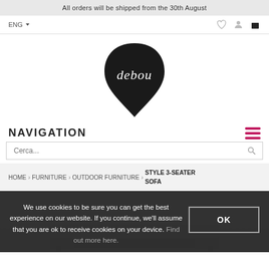All orders will be shipped from the 30th August
ENG
[Figure (logo): Debou brand logo: black teardrop/speech bubble shape with stylized white 'debou' text]
NAVIGATION
Cerca...
HOME > FURNITURE > OUTDOOR FURNITURE > STYLE 3-SEATER SOFA
We use cookies to be sure you can get the best experience on our website. If you continue, we'll assume that you are ok to receive cookies on your device. Find out more here.
[Figure (photo): Partial view of a dark metal outdoor 3-seater sofa at the bottom of the page]